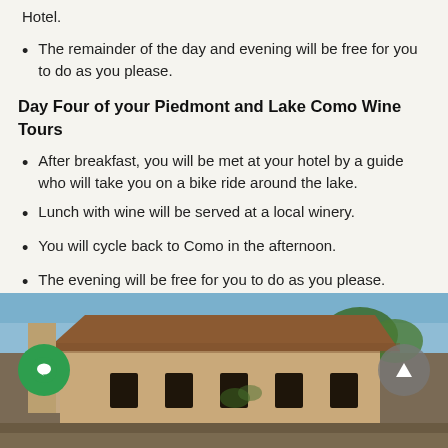Hotel.
The remainder of the day and evening will be free for you to do as you please.
Day Four of your Piedmont and Lake Como Wine Tours
After breakfast, you will be met at your hotel by a guide who will take you on a bike ride around the lake.
Lunch with wine will be served at a local winery.
You will cycle back to Como in the afternoon.
The evening will be free for you to do as you please.
[Figure (photo): Exterior photo of a traditional Italian building with terracotta roof tiles, green trees, and blue sky in the background, likely in the Lake Como region.]